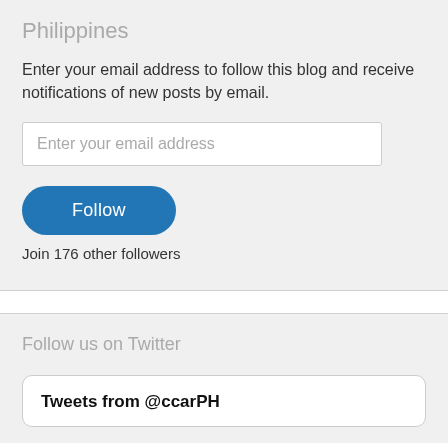Philippines
Enter your email address to follow this blog and receive notifications of new posts by email.
Enter your email address
[Figure (other): Follow button - blue rounded rectangle with white text 'Follow']
Join 176 other followers
Follow us on Twitter
Tweets from @ccarPH